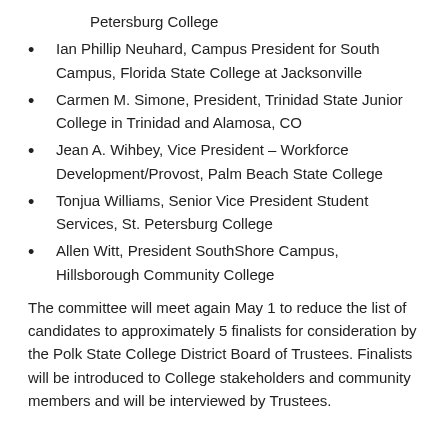Petersburg College
Ian Phillip Neuhard, Campus President for South Campus, Florida State College at Jacksonville
Carmen M. Simone, President, Trinidad State Junior College in Trinidad and Alamosa, CO
Jean A. Wihbey, Vice President – Workforce Development/Provost, Palm Beach State College
Tonjua Williams, Senior Vice President Student Services, St. Petersburg College
Allen Witt, President SouthShore Campus, Hillsborough Community College
The committee will meet again May 1 to reduce the list of candidates to approximately 5 finalists for consideration by the Polk State College District Board of Trustees. Finalists will be introduced to College stakeholders and community members and will be interviewed by Trustees.